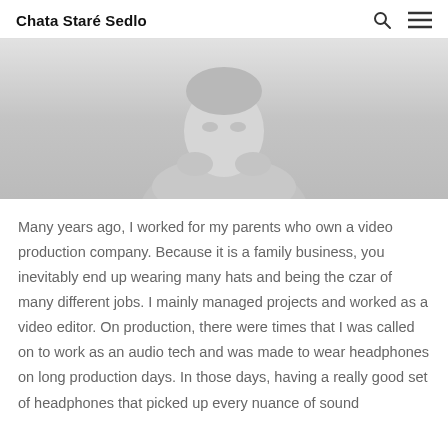Chata Staré Sedlo
[Figure (photo): A person (likely a man) photographed from shoulders up against a light/white background, rendered in greyscale/light tones]
Many years ago, I worked for my parents who own a video production company. Because it is a family business, you inevitably end up wearing many hats and being the czar of many different jobs. I mainly managed projects and worked as a video editor. On production, there were times that I was called on to work as an audio tech and was made to wear headphones on long production days. In those days, having a really good set of headphones that picked up every nuance of sound